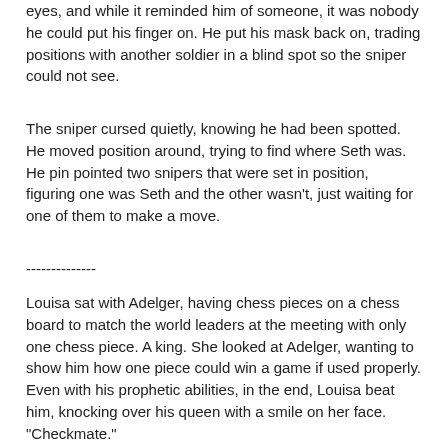eyes, and while it reminded him of someone, it was nobody he could put his finger on. He put his mask back on, trading positions with another soldier in a blind spot so the sniper could not see.
The sniper cursed quietly, knowing he had been spotted. He moved position around, trying to find where Seth was. He pin pointed two snipers that were set in position, figuring one was Seth and the other wasn't, just waiting for one of them to make a move.
--------------
Louisa sat with Adelger, having chess pieces on a chess board to match the world leaders at the meeting with only one chess piece. A king. She looked at Adelger, wanting to show him how one piece could win a game if used properly. Even with his prophetic abilities, in the end, Louisa beat him, knocking over his queen with a smile on her face. "Checkmate."